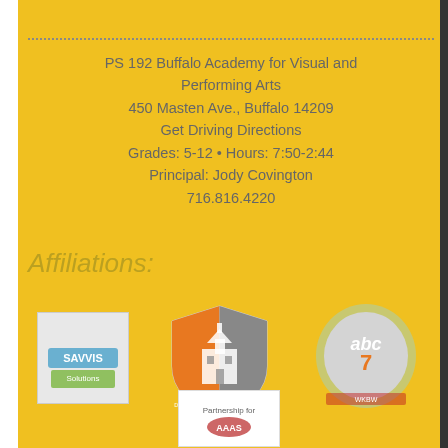PS 192 Buffalo Academy for Visual and Performing Arts
450 Masten Ave., Buffalo 14209
Get Driving Directions
Grades: 5-12 • Hours: 7:50-2:44
Principal: Jody Covington
716.816.4220
Affiliations:
[Figure (logo): SAVVIS or similar organization logo in a white rectangle]
[Figure (logo): School shield logo — orange and grey shield with building, 'Dedicated to Excellence']
[Figure (logo): ABC Channel 7 logo — abc text on grey/gold circular badge]
[Figure (logo): Bottom organization logo in white rectangle]